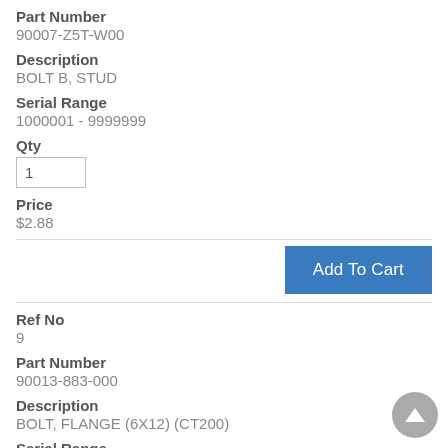Part Number
90007-Z5T-W00
Description
BOLT B, STUD
Serial Range
1000001 - 9999999
Qty
1
Price
$2.88
Add To Cart
Ref No
9
Part Number
90013-883-000
Description
BOLT, FLANGE (6X12) (CT200)
Serial Range
1000001 - 9999999